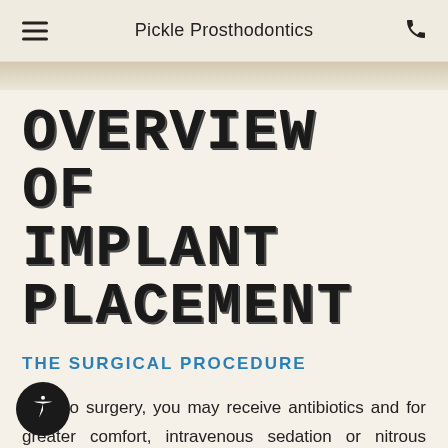Pickle Prosthodontics
OVERVIEW OF IMPLANT PLACEMENT
THE SURGICAL PROCEDURE
Prior to surgery, you may receive antibiotics and for greater comfort, intravenous sedation or nitrous oxide. These options are discussed with you at your consultation appointment. A local anesthetic will be administered to numb the area where the implant will be placed.